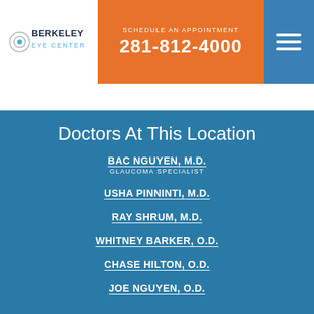[Figure (logo): Berkeley Eye Center logo with circular eye graphic]
SCHEDULE AN APPOINTMENT
281-812-4000
Doctors At This Location
BAC NGUYEN, M.D.
GLAUCOMA SPECIALIST
USHA PINNINTI, M.D.
RAY SHRUM, M.D.
WHITNEY BARKER, O.D.
CHASE HILTON, O.D.
JOE NGUYEN, O.D.